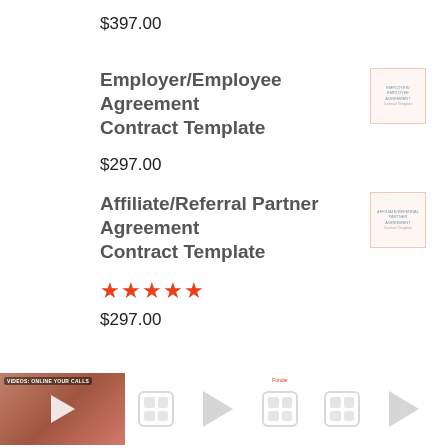$397.00
Employer/Employee Agreement Contract Template
$297.00
Affiliate/Referral Partner Agreement Contract Template
★★★★★
$297.00
[Figure (screenshot): Thumbnail image of Employer/Employee Agreement Contract Template document]
[Figure (screenshot): Thumbnail image of Affiliate/Referral Partner Agreement Contract Template document]
[Figure (screenshot): Bottom video strip with video thumbnails and play/gallery icons]